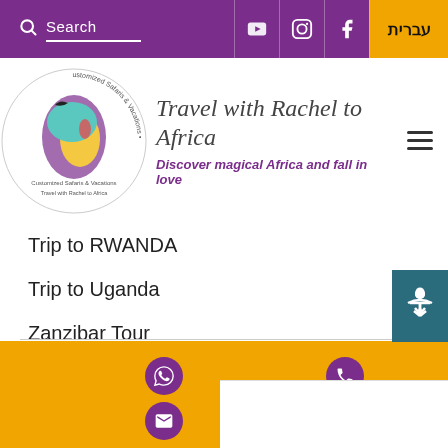Search | YouTube | Instagram | Facebook | עברית
[Figure (logo): Travel with Rachel to Africa circular logo with colorful Africa silhouette and face illustration. Text reads: Travel with Rachel to Africa, Customized Safaris & Vacations]
Travel with Rachel to Africa
Discover magical Africa and fall in love
Trip to RWANDA
Trip to Uganda
Zanzibar Tour
Kenya Safari Tours
Tanzanian Anthropology Day Trips
Tanzania Safaris
[Figure (infographic): Footer section with amber/gold background containing WhatsApp icon (purple circle), phone icon (purple circle), and email icon (purple circle). White box in bottom right corner.]